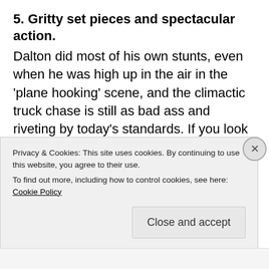5. Gritty set pieces and spectacular action.
Dalton did most of his own stunts, even when he was high up in the air in the 'plane hooking' scene, and the climactic truck chase is still as bad ass and riveting by today's standards. If you look at the featurette, the scene isn't crafted by CGI, but they used real tanker trucks and feature incredible stunts in the dangerous and supposedly haunted twisty
Privacy & Cookies: This site uses cookies. By continuing to use this website, you agree to their use.
To find out more, including how to control cookies, see here: Cookie Policy
Close and accept